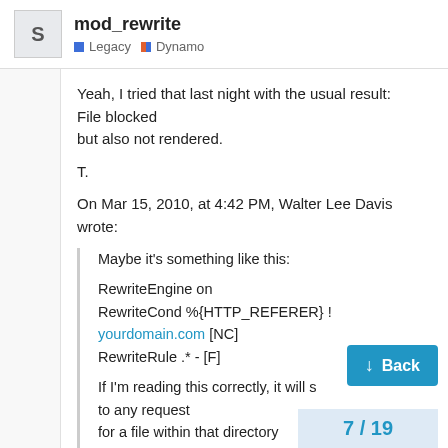mod_rewrite — Legacy · Dynamo
Yeah, I tried that last night with the usual result: File blocked
but also not rendered.

T.
On Mar 15, 2010, at 4:42 PM, Walter Lee Davis wrote:
Maybe it's something like this:

RewriteEngine on
RewriteCond %{HTTP_REFERER} !
yourdomain.com [NC]
RewriteRule .* - [F]

If I'm reading this correctly, it will s...
to any request
for a file within that directory...
originate from